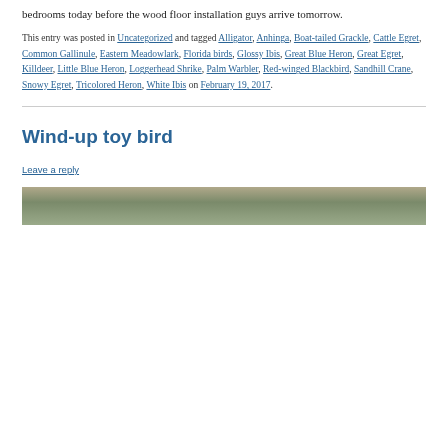bedrooms today before the wood floor installation guys arrive tomorrow.
This entry was posted in Uncategorized and tagged Alligator, Anhinga, Boat-tailed Grackle, Cattle Egret, Common Gallinule, Eastern Meadowlark, Florida birds, Glossy Ibis, Great Blue Heron, Great Egret, Killdeer, Little Blue Heron, Loggerhead Shrike, Palm Warbler, Red-winged Blackbird, Sandhill Crane, Snowy Egret, Tricolored Heron, White Ibis on February 19, 2017.
Wind-up toy bird
Leave a reply
[Figure (photo): Partial view of a bird photograph at the bottom of the page]